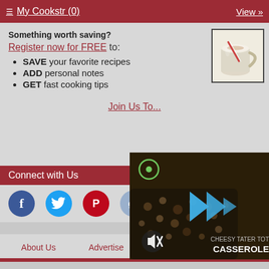≡ My Cookstr (0)   View »
Something worth saving?
Register now for FREE to:
SAVE your favorite recipes
ADD personal notes
GET fast cooking tips
[Figure (photo): A glass mug with a white creamy drink, garnished with a cinnamon stick]
Join Us To...
Connect with Us
[Figure (screenshot): Video player overlay showing a casserole dish with pasta, play button controls, mute button, and text 'CHEESY TATER TOT CASSEROLE']
About Us   Advertise   Contact Us   FAQ